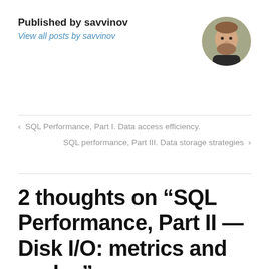Published by savvinov
View all posts by savvinov
[Figure (photo): Circular avatar photo of a bearded man outdoors]
‹  SQL Performance, Part I. Data access efficiency.
SQL performance, Part III. Data storage strategies  ›
2 thoughts on “SQL Performance, Part II — Disk I/O: metrics and scales”